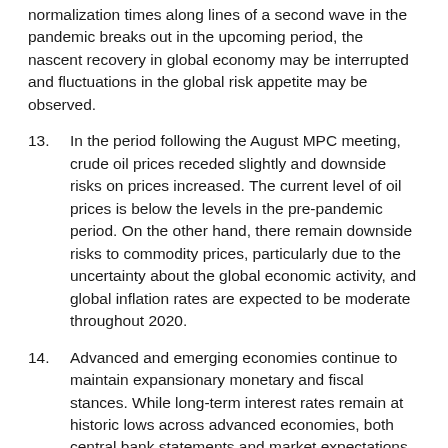normalization times along lines of a second wave in the pandemic breaks out in the upcoming period, the nascent recovery in global economy may be interrupted and fluctuations in the global risk appetite may be observed.
13. In the period following the August MPC meeting, crude oil prices receded slightly and downside risks on prices increased. The current level of oil prices is below the levels in the pre-pandemic period. On the other hand, there remain downside risks to commodity prices, particularly due to the uncertainty about the global economic activity, and global inflation rates are expected to be moderate throughout 2020.
14. Advanced and emerging economies continue to maintain expansionary monetary and fiscal stances. While long-term interest rates remain at historic lows across advanced economies, both central bank statements and market expectations suggest that the low-rate environment is likely to continue for a long period. The effectiveness of these policies for financial markets, growth and employment will depend on the course of the pandemic in each country and how much policy room each country has.
15. Portfolio inflows to emerging economies have increased since the previous MPC meeting due to improved risk sentiment, reflected on bond and stock markets in emerging economies.